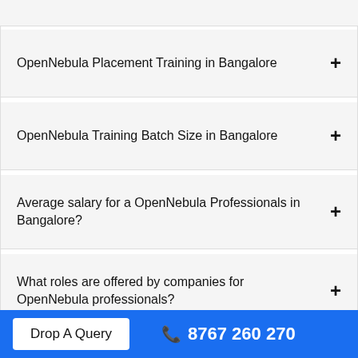OpenNebula Placement Training in Bangalore
OpenNebula Training Batch Size in Bangalore
Average salary for a OpenNebula Professionals in Bangalore?
What roles are offered by companies for OpenNebula professionals?
Which companies are hiring OpenNebula Professionals in Bangalore?
Do I get job support at end of this course?
Drop A Query   8767 260 270